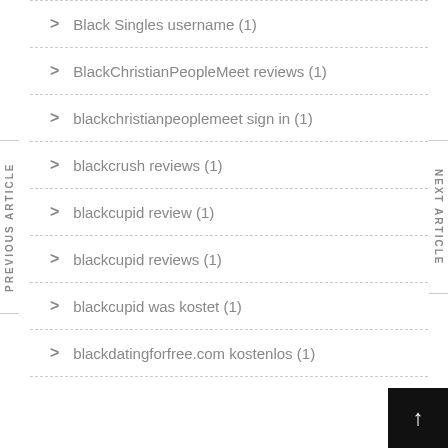Black Singles username (1)
BlackChristianPeopleMeet reviews (1)
blackchristianpeoplemeet sign in (1)
blackcrush reviews (1)
blackcupid review (1)
blackcupid reviews (1)
blackcupid was kostet (1)
blackdatingforfree.com kostenlos (1)